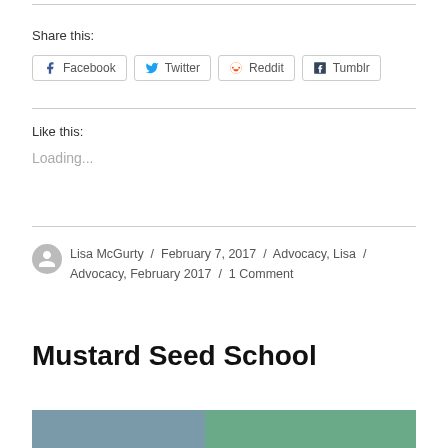Share this:
Facebook  Twitter  Reddit  Tumblr
Like this:
Loading...
Lisa McGurty / February 7, 2017 / Advocacy, Lisa / Advocacy, February 2017 / 1 Comment
Mustard Seed School
[Figure (photo): Partial photo strip at bottom of page, two images side by side]